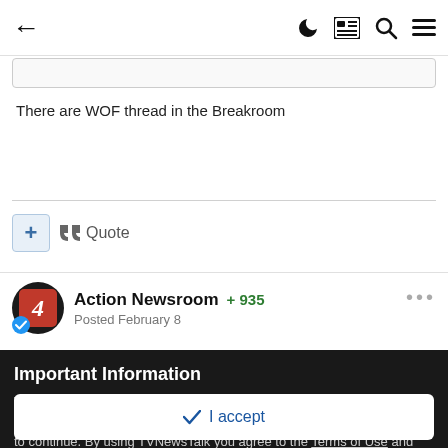← (back) [dark mode] [news] [search] [menu]
There are WOF thread in the Breakroom
＋  ❝ Quote
Action Newsroom  +935
Posted February 8
Important Information
We have placed cookies on your device to help make this website better. You can adjust your cookie settings, otherwise we'll assume you're okay to continue. By using TVNewsTalk you agree to the Terms of Use and Privacy Policy.
✓  I accept